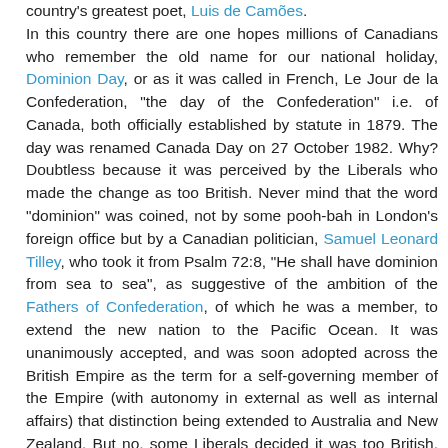country's greatest poet, Luis de Camões. In this country there are one hopes millions of Canadians who remember the old name for our national holiday, Dominion Day, or as it was called in French, Le Jour de la Confederation, "the day of the Confederation" i.e. of Canada, both officially established by statute in 1879. The day was renamed Canada Day on 27 October 1982. Why? Doubtless because it was perceived by the Liberals who made the change as too British. Never mind that the word "dominion" was coined, not by some pooh-bah in London's foreign office but by a Canadian politician, Samuel Leonard Tilley, who took it from Psalm 72:8, "He shall have dominion from sea to sea", as suggestive of the ambition of the Fathers of Confederation, of which he was a member, to extend the new nation to the Pacific Ocean. It was unanimously accepted, and was soon adopted across the British Empire as the term for a self-governing member of the Empire (with autonomy in external as well as internal affairs) that distinction being extended to Australia and New Zealand. But no, some Liberals decided it was too British, too old fashioned, and worst of all might offend French Canadians. Or it was because "dominion" doesn't translate very well into French...